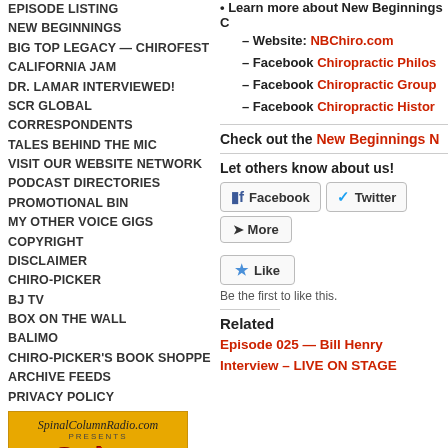EPISODE LISTING
NEW BEGINNINGS
BIG TOP LEGACY — CHIROFEST
CALIFORNIA JAM
DR. LAMAR INTERVIEWED!
SCR GLOBAL CORRESPONDENTS
TALES BEHIND THE MIC
VISIT OUR WEBSITE NETWORK
PODCAST DIRECTORIES
PROMOTIONAL BIN
MY OTHER VOICE GIGS
COPYRIGHT
DISCLAIMER
CHIRO-PICKER
BJ TV
BOX ON THE WALL
BALIMO
CHIRO-PICKER'S BOOK SHOPPE
ARCHIVE FEEDS
PRIVACY POLICY
[Figure (illustration): SpinalColumnRadio.com Presents Spine Bites podcast logo — yellow/gold background with retro red radio microphone, tagline: Bite-sized nuggets of chiropractic goodness!]
• Learn more about New Beginnings C...
– Website: NBChiro.com
– Facebook Chiropractic Philos...
– Facebook Chiropractic Group...
– Facebook Chiropractic Histor...
Check out the New Beginnings N...
Let others know about us!
Facebook
Twitter
More
Like
Be the first to like this.
Related
Episode 025 — Bill Henry Interview – LIVE ON STAGE